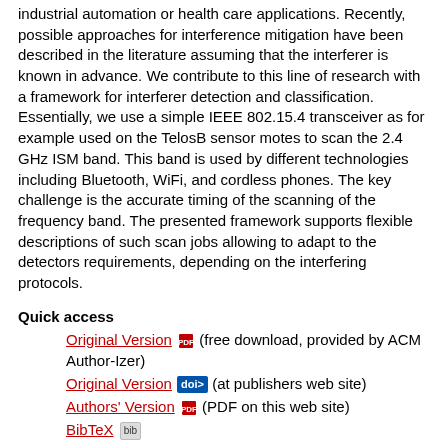industrial automation or health care applications. Recently, possible approaches for interference mitigation have been described in the literature assuming that the interferer is known in advance. We contribute to this line of research with a framework for interferer detection and classification. Essentially, we use a simple IEEE 802.15.4 transceiver as for example used on the TelosB sensor motes to scan the 2.4 GHz ISM band. This band is used by different technologies including Bluetooth, WiFi, and cordless phones. The key challenge is the accurate timing of the scanning of the frequency band. The presented framework supports flexible descriptions of such scan jobs allowing to adapt to the detectors requirements, depending on the interfering protocols.
Quick access
Original Version (free download, provided by ACM Author-Izer)
Original Version (at publishers web site)
Authors' Version (PDF on this web site)
BibTeX
Contact
Bastian Bloessl
Stefan Joerer